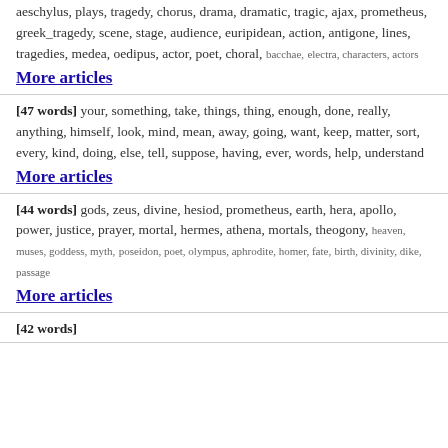aeschylus, plays, tragedy, chorus, drama, dramatic, tragic, ajax, prometheus, greek_tragedy, scene, stage, audience, euripidean, action, antigone, lines, tragedies, medea, oedipus, actor, poet, choral, bacchae, electra, characters, actors
More articles
[47 words] your, something, take, things, thing, enough, done, really, anything, himself, look, mind, mean, away, going, want, keep, matter, sort, every, kind, doing, else, tell, suppose, having, ever, words, help, understand
More articles
[44 words] gods, zeus, divine, hesiod, prometheus, earth, hera, apollo, power, justice, prayer, mortal, hermes, athena, mortals, theogony, heaven, muses, goddess, myth, poseidon, poet, olympus, aphrodite, homer, fate, birth, divinity, dike, passage
More articles
[42 words] ...